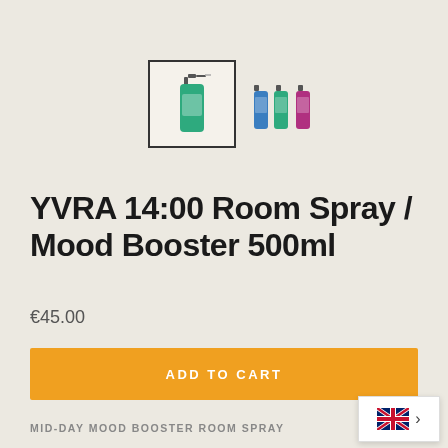[Figure (photo): Two product thumbnail images: first is a selected single green spray bottle (highlighted with border), second shows three spray bottles in blue, green, and pink colors grouped together.]
YVRA 14:00 Room Spray / Mood Booster 500ml
€45.00
ADD TO CART
MID-DAY MOOD BOOSTER ROOM SPRAY
It can be too heavy a lunch, too much digital traff... make you feel a bit dazed in the afternoon. With
[Figure (other): UK flag icon with a right arrow chevron indicating a language selector widget in the bottom right corner.]